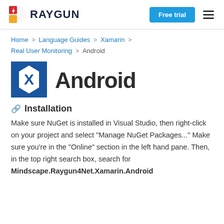RAYGUN | Free trial
Home > Language Guides > Xamarin > Real User Monitoring > Android
Android
Installation
Make sure NuGet is installed in Visual Studio, then right-click on your project and select "Manage NuGet Packages..." Make sure you're in the "Online" section in the left hand pane. Then, in the top right search box, search for Mindscape.Raygun4Net.Xamarin.Android